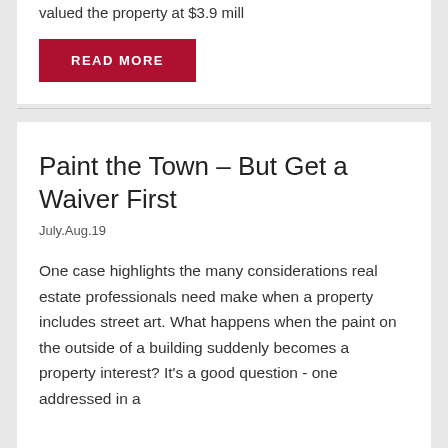valued the property at $3.9 mill
READ MORE
Paint the Town – But Get a Waiver First
July.Aug.19
One case highlights the many considerations real estate professionals need make when a property includes street art. What happens when the paint on the outside of a building suddenly becomes a property interest? It's a good question - one addressed in a